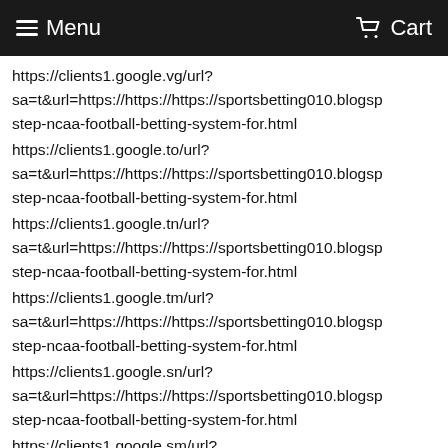Menu   Cart
https://clients1.google.vg/url?sa=t&url=https://https://https://sportsbetting010.blogsp step-ncaa-football-betting-system-for.html
https://clients1.google.to/url?sa=t&url=https://https://https://sportsbetting010.blogsp step-ncaa-football-betting-system-for.html
https://clients1.google.tn/url?sa=t&url=https://https://https://sportsbetting010.blogsp step-ncaa-football-betting-system-for.html
https://clients1.google.tm/url?sa=t&url=https://https://https://sportsbetting010.blogsp step-ncaa-football-betting-system-for.html
https://clients1.google.sn/url?sa=t&url=https://https://https://sportsbetting010.blogsp step-ncaa-football-betting-system-for.html
https://clients1.google.sm/url?